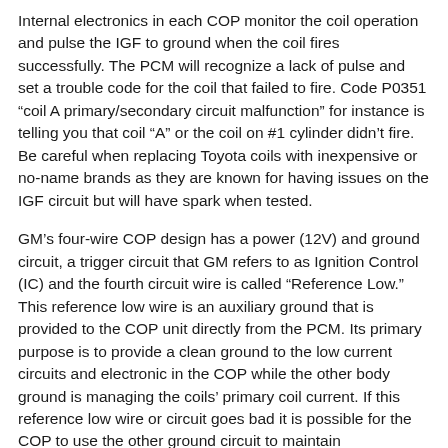Internal electronics in each COP monitor the coil operation and pulse the IGF to ground when the coil fires successfully. The PCM will recognize a lack of pulse and set a trouble code for the coil that failed to fire. Code P0351 “coil A primary/secondary circuit malfunction” for instance is telling you that coil “A” or the coil on #1 cylinder didn’t fire. Be careful when replacing Toyota coils with inexpensive or no-name brands as they are known for having issues on the IGF circuit but will have spark when tested.
GM’s four-wire COP design has a power (12V) and ground circuit, a trigger circuit that GM refers to as Ignition Control (IC) and the fourth circuit wire is called “Reference Low.” This reference low wire is an auxiliary ground that is provided to the COP unit directly from the PCM. Its primary purpose is to provide a clean ground to the low current circuits and electronic in the COP while the other body ground is managing the coils’ primary coil current. If this reference low wire or circuit goes bad it is possible for the COP to use the other ground circuit to maintain functionality. GM’s IC trigger